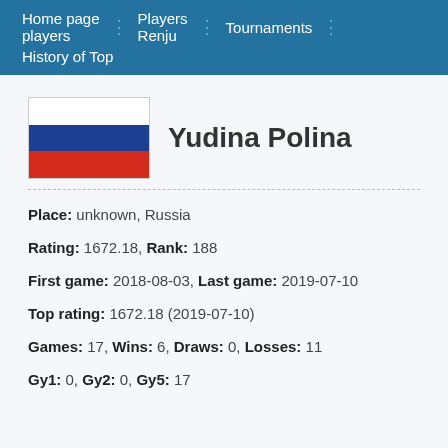Home page players | Players | Renju | Tournaments | History of Top
Yudina Polina
Place: unknown, Russia
Rating: 1672.18, Rank: 188
First game: 2018-08-03, Last game: 2019-07-10
Top rating: 1672.18 (2019-07-10)
Games: 17, Wins: 6, Draws: 0, Losses: 11
Gy1: 0, Gy2: 0, Gy5: 17